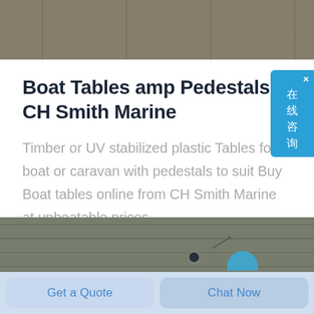[Figure (photo): Top construction/outdoor scene photo strip showing sandy or concrete structures]
Boat Tables amp Pedestals CH Smith Marine
Timber or UV stabilized plastic Tables for boat or caravan with pedestals to suit Buy Boat tables online from CH Smith Marine at unbeatable prices
[Figure (screenshot): Chinese online consultation widget with blue background and text 在线咨询]
[Figure (photo): Bottom image strip showing marine/dock scene with blue circle element]
Get a Quote
Chat Now